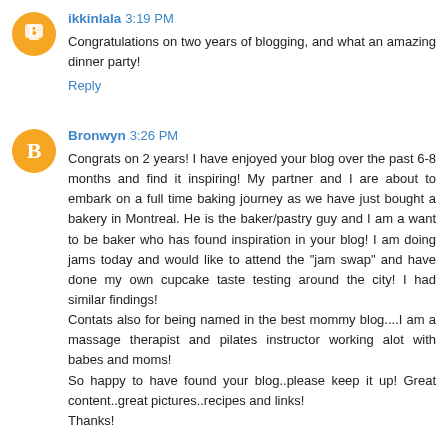ikkinlala 3:19 PM
Congratulations on two years of blogging, and what an amazing dinner party!
Reply
Bronwyn 3:26 PM
Congrats on 2 years! I have enjoyed your blog over the past 6-8 months and find it inspiring! My partner and I are about to embark on a full time baking journey as we have just bought a bakery in Montreal. He is the baker/pastry guy and I am a want to be baker who has found inspiration in your blog! I am doing jams today and would like to attend the "jam swap" and have done my own cupcake taste testing around the city! I had similar findings!
Contats also for being named in the best mommy blog....I am a massage therapist and pilates instructor working alot with babes and moms!
So happy to have found your blog..please keep it up! Great content..great pictures..recipes and links!
Thanks!